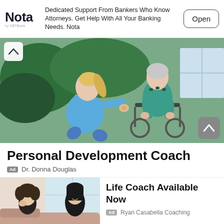[Figure (screenshot): Nota by VBT Bank ad banner with logo, text about dedicated banking support for attorneys, and Open button]
Dedicated Support From Bankers Who Know Attorneys. Get Help With All Your Banking Needs. Nota
[Figure (photo): A nurse in blue scrubs kneeling beside an elderly woman in a wheelchair outdoors, both smiling and engaging in conversation]
Personal Development Coach
Ad  Dr. Donna Douglas
[Figure (photo): Two women sitting on a couch having a conversation, one with curly hair and one with dark hair, appearing to be in a coaching or counseling session]
Life Coach Available Now
Ad  Ryan Casabella Coaching